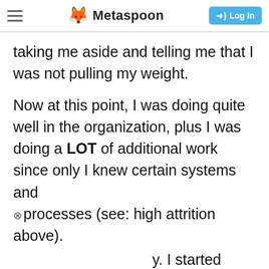Metaspoon
taking me aside and telling me that I was not pulling my weight.
Now at this point, I was doing quite well in the organization, plus I was doing a LOT of additional work since only I knew certain systems and processes (see: high attrition above).
y. I started looking rave enough to quit